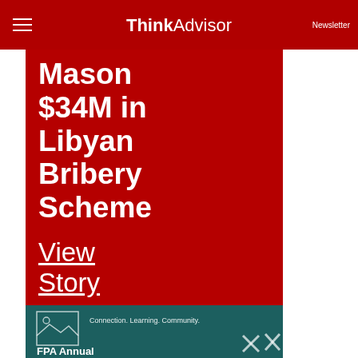ThinkAdvisor Newsletter
Mason $34M in Libyan Bribery Scheme
View Story
[Figure (screenshot): Bottom advertisement banner with dark teal background showing connection/learning/community text, image placeholder icon, and FPA Annual text]